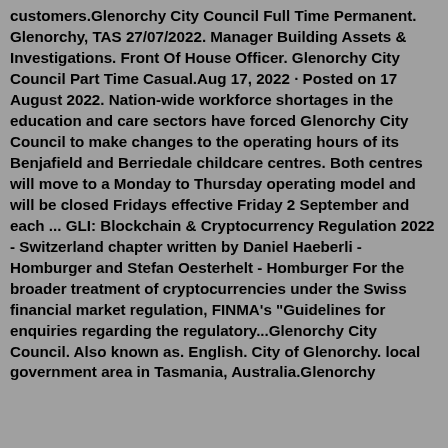customers.Glenorchy City Council Full Time Permanent. Glenorchy, TAS 27/07/2022. Manager Building Assets & Investigations. Front Of House Officer. Glenorchy City Council Part Time Casual.Aug 17, 2022 · Posted on 17 August 2022. Nation-wide workforce shortages in the education and care sectors have forced Glenorchy City Council to make changes to the operating hours of its Benjafield and Berriedale childcare centres. Both centres will move to a Monday to Thursday operating model and will be closed Fridays effective Friday 2 September and each ... GLI: Blockchain & Cryptocurrency Regulation 2022 - Switzerland chapter written by Daniel Haeberli - Homburger and Stefan Oesterhelt - Homburger For the broader treatment of cryptocurrencies under the Swiss financial market regulation, FINMA's "Guidelines for enquiries regarding the regulatory...Glenorchy City Council. Also known as. English. City of Glenorchy. local government area in Tasmania, Australia.Glenorchy